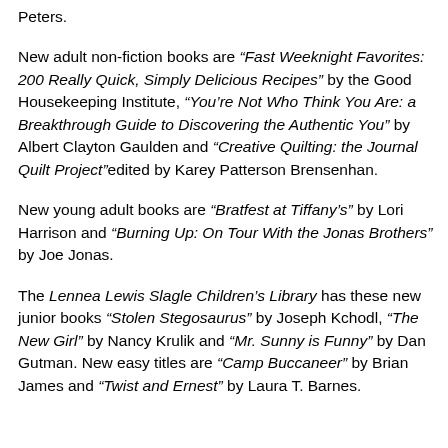Peters.
New adult non-fiction books are “Fast Weeknight Favorites: 200 Really Quick, Simply Delicious Recipes” by the Good Housekeeping Institute, “You’re Not Who Think You Are: a Breakthrough Guide to Discovering the Authentic You” by Albert Clayton Gaulden and “Creative Quilting: the Journal Quilt Project” edited by Karey Patterson Brensenhan.
New young adult books are “Bratfest at Tiffany’s” by Lori Harrison and “Burning Up: On Tour With the Jonas Brothers” by Joe Jonas.
The Lennea Lewis Slagle Children’s Library has these new junior books “Stolen Stegosaurus” by Joseph Kchodl, “The New Girl” by Nancy Krulik and “Mr. Sunny is Funny” by Dan Gutman. New easy titles are “Camp Buccaneer” by Brian James and “Twist and Ernest” by Laura T. Barnes.